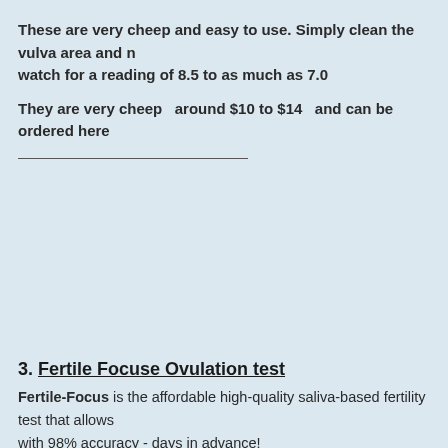These are very cheep and easy to use. Simply clean the vulva area and watch for a reading of 8.5 to as much as 7.0
They are very cheep  around $10 to $14  and can be ordered here
3. Fertile Focuse Ovulation test
Fertile-Focus is the affordable high-quality saliva-based fertility test that allows with 98% accuracy - days in advance!
When a bitch is about to ovulate, a distinct crystal "ferning" pattern becomes due to hormonal changes causing the electrolytes (or salts) to increase in her